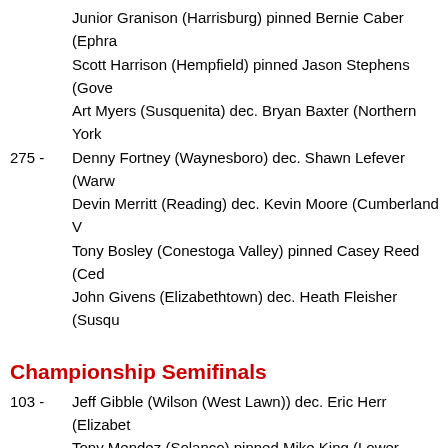Junior Granison (Harrisburg) pinned Bernie Caber (Ephrata...)
Scott Harrison (Hempfield) pinned Jason Stephens (Gove...)
Art Myers (Susquenita) dec. Bryan Baxter (Northern York...)
275 - Denny Fortney (Waynesboro) dec. Shawn Lefever (Warw...)
Devin Merritt (Reading) dec. Kevin Moore (Cumberland V...)
Tony Bosley (Conestoga Valley) pinned Casey Reed (Ced...)
John Givens (Elizabethtown) dec. Heath Fleisher (Susqu...)
Championship Semifinals
103 - Jeff Gibble (Wilson (West Lawn)) dec. Eric Herr (Elizabeth...)
Tony Mendez (Solanco) pinned Mike King (Lower Dauphi...)
112 - Chad Bear (Cumberland Valley) dec. Brent Ryer (Dover),
Willie Salas (Central Dauphin East) dec. Jeremy Colon (C...)
119 - Jose Colon (J.P. McCaskey) won by forfeit over Josh Geo...
Phil Hursh (Conestoga Valley) dec. Jason Webb (Cedar C...)
125 - Brian Yost (Wilson (West Lawn)) dec. Patrick Woody (Rea...)
Shawn Allwein (Warwick) pinned Kerry Ferguson (Dover)
130 - Justin Barbush (Manheim Central) dec. Eric Folmar (Cha...)
John Klessinger (Warwick) dec. Nathan Tiday (Cumberlan...)